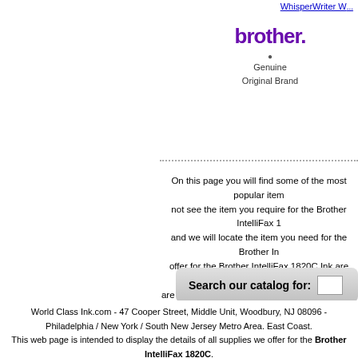WhisperWriter W[...]
[Figure (logo): Brother brand logo in purple text]
Genuine
Original Brand
On this page you will find some of the most popular items... not see the item you require for the Brother IntelliFax 1... and we will locate the item you need for the Brother In... offer for the Brother IntelliFax 1820C Ink are listed on t... are looking for supplies for the Brother IntelliFax 18... confirmed by our technical team as comp...
Search our catalog for:
Manufacturer logos, tradema... are the property of a...
www.worldclassink.com - Copyright 1999-2009 - A... HOME | Contact | Email Shipping Policy | Return Policy | F.A.Q. | Privacy Polic... Purchase Orders | Recycle Your Empties | Industry News |... Site Map | Affiliate Program
World Class Ink.com - 47 Cooper Street, Middle Unit, Woodbury, NJ 08096 - Philadelphia / New York / South New Jersey Metro Area. East Coast.
This web page is intended to display the details of all supplies we offer for the Brother IntelliFax 1820C.